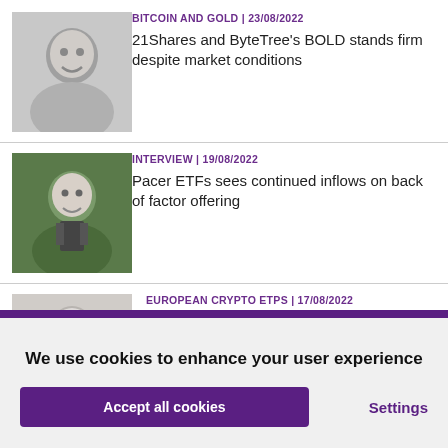BITCOIN AND GOLD | 23/08/2022 — 21Shares and ByteTree's BOLD stands firm despite market conditions
INTERVIEW | 19/08/2022 — Pacer ETFs sees continued inflows on back of factor offering
EUROPEAN CRYPTO ETPS | 17/08/2022 — ETC Group's paper provokes mixed reactions from Europe's crypto ETP cohort
We use cookies to enhance your user experience
Accept all cookies
Settings